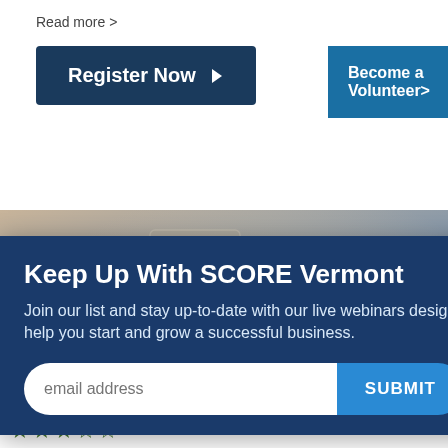Read more >
Register Now ▶
Become a Volunteer>
[Figure (photo): Photo of a tax calculator with TAX label on screen and dark background]
Keep Up With SCORE Vermont
Join our list and stay up-to-date with our live webinars designed to help you start and grow a successful business.
email address
SUBMIT
Recorded Webinar
The Must-Knows of Wage & Hour Requirements and IRS Small Business Resources
★★★☆☆